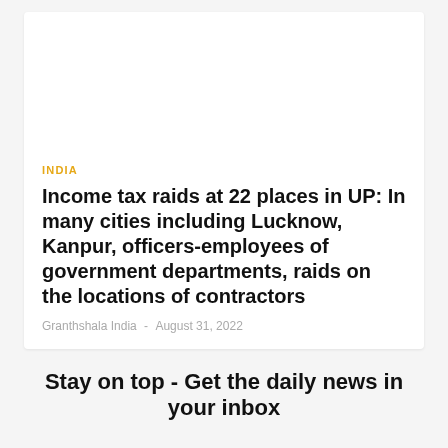INDIA
Income tax raids at 22 places in UP: In many cities including Lucknow, Kanpur, officers-employees of government departments, raids on the locations of contractors
Granthshala India  -  August 31, 2022
Stay on top - Get the daily news in your inbox